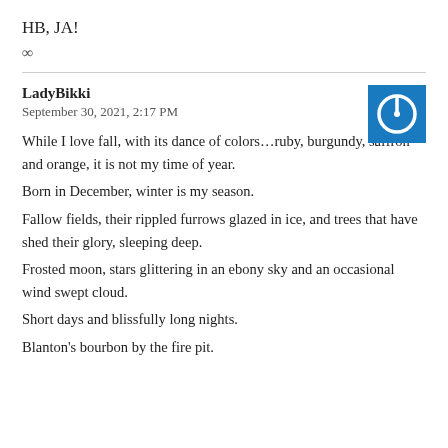HB, JA!
∞
LadyBikki
September 30, 2021, 2:17 PM
While I love fall, with its dance of colors…ruby, burgundy, saffron and orange, it is not my time of year.
Born in December, winter is my season.
Fallow fields, their rippled furrows glazed in ice, and trees that have shed their glory, sleeping deep.
Frosted moon, stars glittering in an ebony sky and an occasional wind swept cloud.
Short days and blissfully long nights.
Blanton's bourbon by the fire pit.